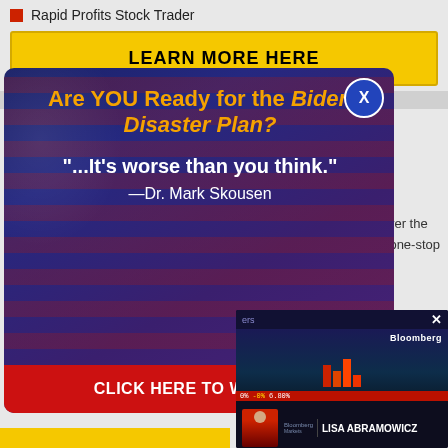Rapid Profits Stock Trader
LEARN MORE HERE
[Figure (screenshot): Popup ad overlay on a dark blue/purple background with American flag texture. Contains headline 'Are YOU Ready for the Biden Disaster Plan?' in orange/gold, quote '"...It's worse than you think."' in white, attribution '—Dr. Mark Skousen' in white, with a blue circle X close button in top right, and a red 'CLICK HERE TO WATCH >' button at bottom.]
ll over the nd one-stop
[Figure (screenshot): Bloomberg TV widget in bottom right corner showing a female anchor in red dress in front of a financial news studio background. Bottom bar shows 'LISA ABRAMOWICZ' with Bloomberg Markets logo. The screen has a red ticker bar with financial data.]